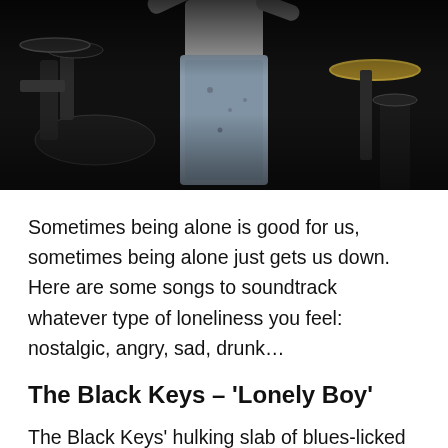[Figure (photo): Concert photo showing a performer on stage from behind/below, arms raised, with drum kit and cymbals visible in a dark background]
Sometimes being alone is good for us, sometimes being alone just gets us down. Here are some songs to soundtrack whatever type of loneliness you feel: nostalgic, angry, sad, drunk…
The Black Keys – 'Lonely Boy'
The Black Keys' hulking slab of blues-licked rock